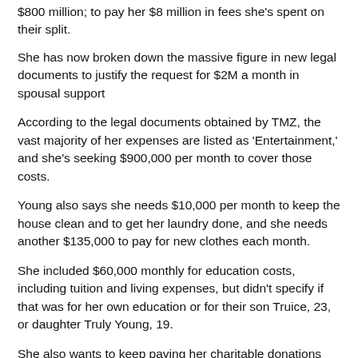$800 million; to pay her $8 million in fees she's spent on their split.
She has now broken down the massive figure in new legal documents to justify the request for $2M a month in spousal support
According to the legal documents obtained by TMZ, the vast majority of her expenses are listed as 'Entertainment,' and she's seeking $900,000 per month to cover those costs.
Young also says she needs $10,000 per month to keep the house clean and to get her laundry done, and she needs another $135,000 to pay for new clothes each month.
She included $60,000 monthly for education costs, including tuition and living expenses, but didn't specify if that was for her own education or for their son Truice, 23, or daughter Truly Young, 19.
She also wants to keep paying her charitable donations which is $125,000 a month.